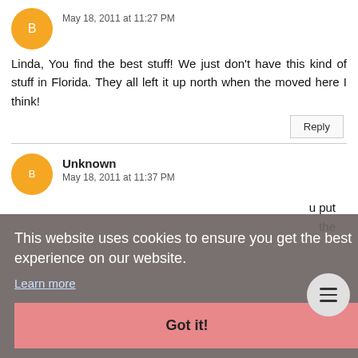May 18, 2011 at 11:27 PM
Linda, You find the best stuff! We just don't have this kind of stuff in Florida. They all left it up north when the moved here I think!
Reply
Unknown
May 18, 2011 at 11:37 PM
This website uses cookies to ensure you get the best experience on our website.
Learn more
Got it!